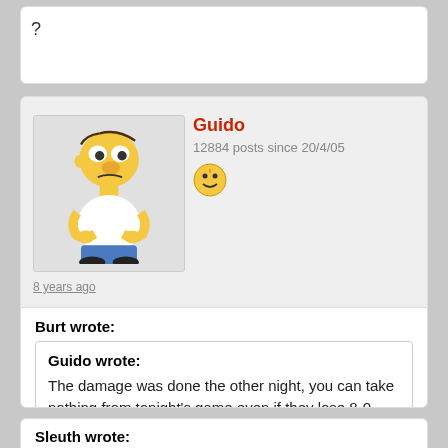?
Guido
12884 posts since 20/4/05
8 years ago
Burt wrote:
Guido wrote:
The damage was done the other night, you can take nothing from tonight's game even if they lose 8-0
That's like saying I'll take nothing from next Season when your lot finish below Rangers, Guido - can't beat watching the demise of the 'greats'
Sleuth wrote: